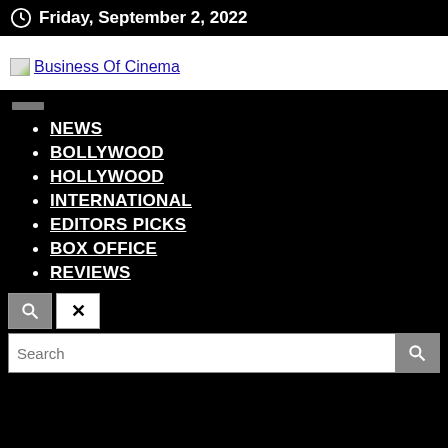Friday, September 2, 2022
[Figure (logo): Business Of Cinema logo link with broken image icon]
NEWS
BOLLYWOOD
HOLLYWOOD
INTERNATIONAL
EDITORS PICKS
BOX OFFICE
REVIEWS
Search